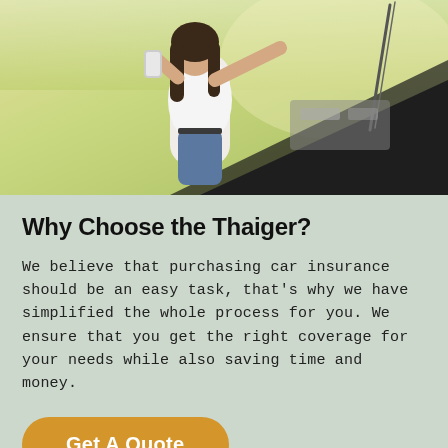[Figure (photo): Woman in white shirt talking on the phone while looking under the open hood of a car, outdoors in a sunny field.]
Why Choose the Thaiger?
We believe that purchasing car insurance should be an easy task, that's why we have simplified the whole process for you. We ensure that you get the right coverage for your needs while also saving time and money.
Get A Quote